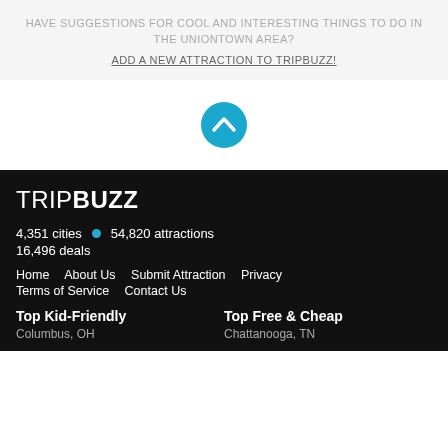HAVE SUGGESTIONS FOR COOL AND INTERESTING THINGS TO DO IN THE UNIONTOWN AREA?
ADD A NEW ATTRACTION TO TRIPBUZZ!
[Figure (illustration): Teal circular button with upward chevron/arrow icon (back to top button)]
TRIPBUZZ
4,351 cities  •  54,820 attractions
16,496 deals
Home   About Us   Submit Attraction   Privacy
Terms of Service   Contact Us
Top Kid-Friendly
Columbus, OH
Top Free & Cheap
Chattanooga, TN